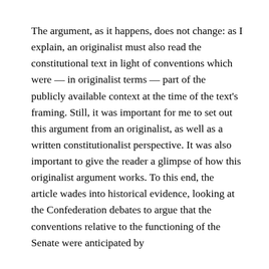The argument, as it happens, does not change: as I explain, an originalist must also read the constitutional text in light of conventions which were — in originalist terms — part of the publicly available context at the time of the text's framing. Still, it was important for me to set out this argument from an originalist, as well as a written constitutionalist perspective. It was also important to give the reader a glimpse of how this originalist argument works. To this end, the article wades into historical evidence, looking at the Confederation debates to argue that the conventions relative to the functioning of the Senate were anticipated by